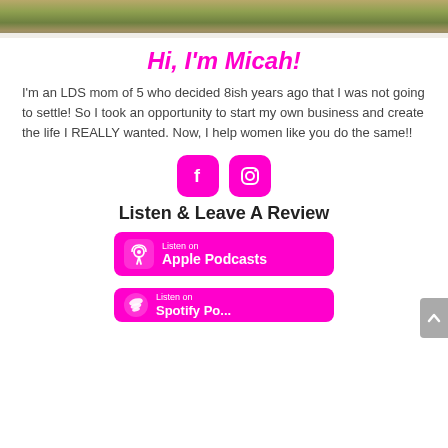[Figure (photo): Cropped top portion of a photo showing people sitting in grass, only feet/legs and grass visible]
Hi, I'm Micah!
I'm an LDS mom of 5 who decided 8ish years ago that I was not going to settle! So I took an opportunity to start my own business and create the life I REALLY wanted. Now, I help women like you do the same!!
[Figure (infographic): Two magenta rounded square social media icons: Facebook (f) and Instagram (camera icon)]
Listen & Leave A Review
[Figure (logo): Listen on Apple Podcasts button - magenta background with podcast icon and white text]
[Figure (logo): Listen on Spotify button - magenta background with Spotify icon and white text (partially visible)]